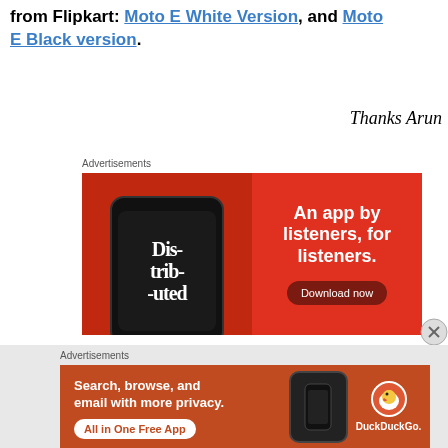from Flipkart: Moto E White Version, and Moto E Black version.
Thanks Arun
Advertisements
[Figure (photo): Advertisement for a podcast app. Red background with a smartphone showing 'Distributed' podcast app. Text reads 'An app by listeners, for listeners.' with a 'Download now' button.]
Advertisements
[Figure (photo): Advertisement for DuckDuckGo. Orange-brown background. Text: 'Search, browse, and email with more privacy. All in One Free App'. Shows smartphone and DuckDuckGo logo.]